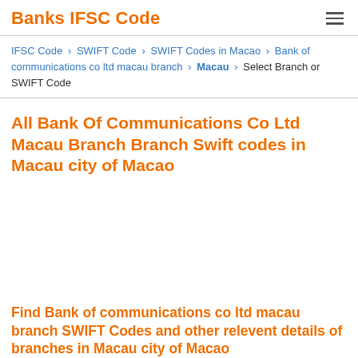Banks IFSC Code
IFSC Code › SWIFT Code › SWIFT Codes in Macao › Bank of communications co ltd macau branch › Macau › Select Branch or SWIFT Code
All Bank Of Communications Co Ltd Macau Branch Branch Swift codes in Macau city of Macao
Find Bank of communications co ltd macau branch SWIFT Codes and other relevent details of branches in Macau city of Macao
First select your Country, select the Bank, now select